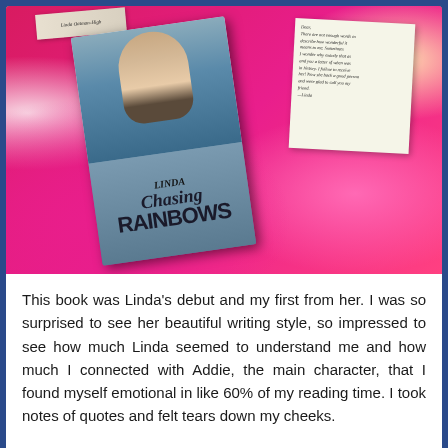[Figure (photo): Photo of a book titled 'Chasing Rainbows' by Linda (signed copy) lying on a pink/red floral fabric alongside a handwritten note card]
This book was Linda's debut and my first from her. I was so surprised to see her beautiful writing style, so impressed to see how much Linda seemed to understand me and how much I connected with Addie, the main character, that I found myself emotional in like 60% of my reading time. I took notes of quotes and felt tears down my cheeks.